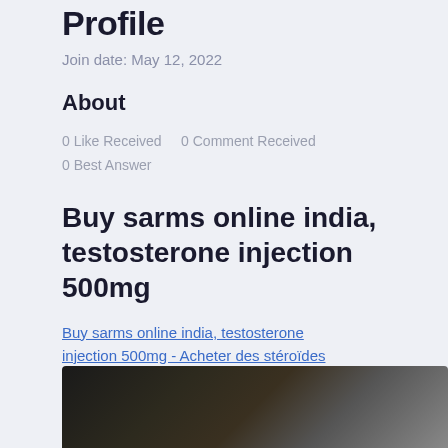Profile
Join date: May 12, 2022
About
0 Like Received   0 Comment Received
0 Best Answer
Buy sarms online india, testosterone injection 500mg
Buy sarms online india, testosterone injection 500mg - Acheter des stéroïdes anabolisants en ligne
[Figure (photo): Dark blurred photo at the bottom of the page]